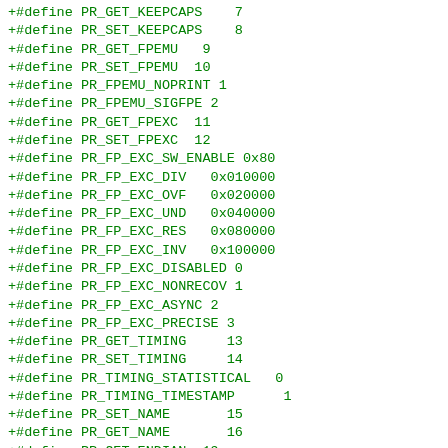+#define PR_GET_KEEPCAPS    7
+#define PR_SET_KEEPCAPS    8
+#define PR_GET_FPEMU   9
+#define PR_SET_FPEMU  10
+#define PR_FPEMU_NOPRINT 1
+#define PR_FPEMU_SIGFPE 2
+#define PR_GET_FPEXC  11
+#define PR_SET_FPEXC  12
+#define PR_FP_EXC_SW_ENABLE 0x80
+#define PR_FP_EXC_DIV   0x010000
+#define PR_FP_EXC_OVF   0x020000
+#define PR_FP_EXC_UND   0x040000
+#define PR_FP_EXC_RES   0x080000
+#define PR_FP_EXC_INV   0x100000
+#define PR_FP_EXC_DISABLED 0
+#define PR_FP_EXC_NONRECOV 1
+#define PR_FP_EXC_ASYNC 2
+#define PR_FP_EXC_PRECISE 3
+#define PR_GET_TIMING     13
+#define PR_SET_TIMING     14
+#define PR_TIMING_STATISTICAL   0
+#define PR_TIMING_TIMESTAMP      1
+#define PR_SET_NAME       15
+#define PR_GET_NAME       16
+#define PR_GET_ENDIAN  19
+#define PR_SET_ENDIAN  20
+#define PR_ENDIAN_BIG
+#define PR_ENDIAN_LITTLE
+#define PR_ENDIAN_PPC_LITTLE
+#define PR_GET_SECCOMP  21